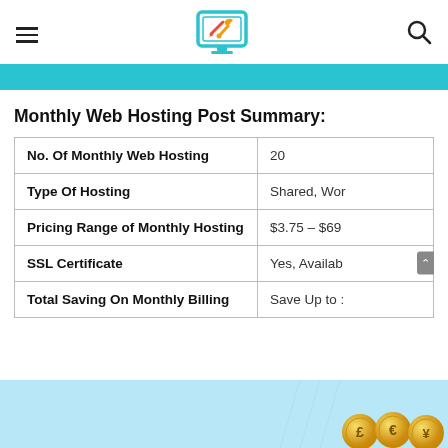Navigation header with hamburger menu, logo (computer with tools), and search icon
Monthly Web Hosting Post Summary:
|  |  |
| --- | --- |
| No. Of Monthly Web Hosting | 20 |
| Type Of Hosting | Shared, Wor… |
| Pricing Range of Monthly Hosting | $3.75 – $69… |
| SSL Certificate | Yes, Availab… |
| Total Saving On Monthly Billing | Save Up to … |
[Figure (illustration): Light blue banner at bottom with gold coins showing currency symbols (£, €, ¥)]